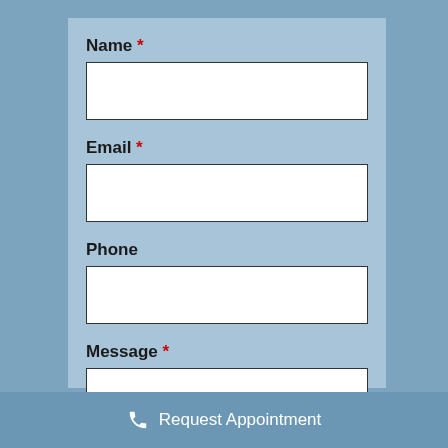Name *
Email *
Phone
Message *
Request Appointment